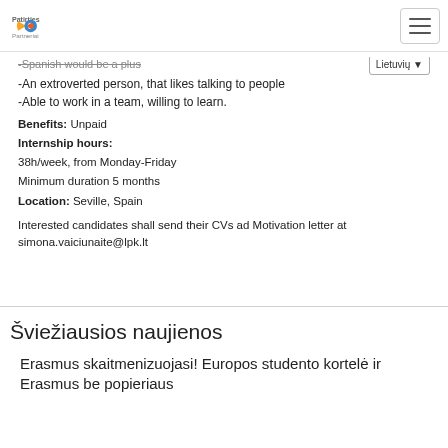Patirties Partneriai
-Spanish would be a plus
-An extroverted person, that likes talking to people
-Able to work in a team, willing to learn.
Benefits: Unpaid
Internship hours:
38h/week, from Monday-Friday
Minimum duration 5 months
Location: Seville, Spain
Interested candidates shall send their CVs ad Motivation letter at simona.vaiciunaite@lpk.lt
Šviežiausios naujienos
Erasmus skaitmenizuojasi! Europos studento kortelė ir Erasmus be popieriaus